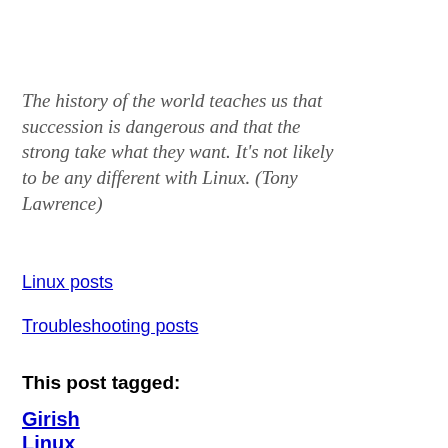The history of the world teaches us that succession is dangerous and that the strong take what they want. It's not likely to be any different with Linux. (Tony Lawrence)
Linux posts
Troubleshooting posts
This post tagged:
Girish
Linux